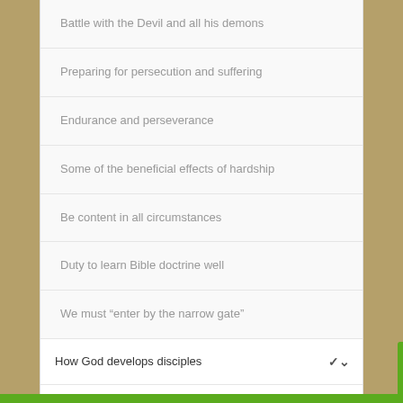Battle with the Devil and all his demons
Preparing for persecution and suffering
Endurance and perseverance
Some of the beneficial effects of hardship
Be content in all circumstances
Duty to learn Bible doctrine well
We must “enter by the narrow gate”
How God develops disciples
Thankfulness – make it a habit